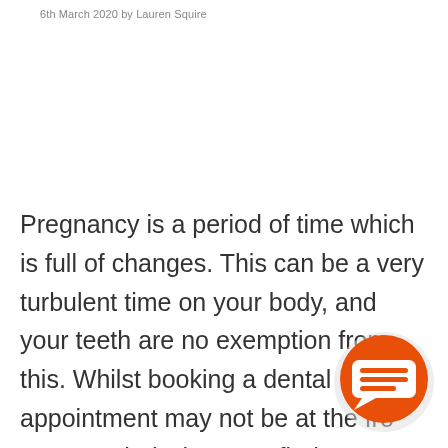6th March 2020 by Lauren Squire
[Figure (other): Blank white image area placeholder]
Pregnancy is a period of time which is full of changes. This can be a very turbulent time on your body, and your teeth are no exemption from this. Whilst booking a dental appointment may not be at the front of your mind when you find out you are pregnant, there are very good reasons why you should
[Figure (other): Orange circular chat/message button icon in bottom right corner]